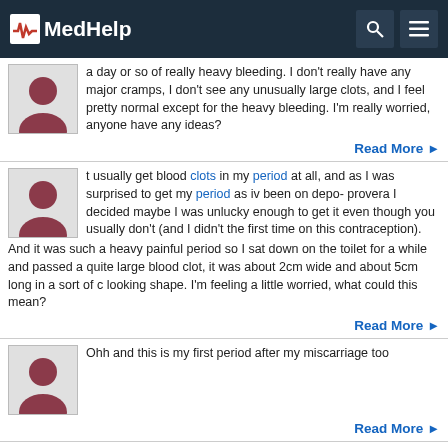MedHelp
a day or so of really heavy bleeding. I don't really have any major cramps, I don't see any unusually large clots, and I feel pretty normal except for the heavy bleeding. I'm really worried, anyone have any ideas?
Read More
t usually get blood clots in my period at all, and as I was surprised to get my period as iv been on depo- provera I decided maybe I was unlucky enough to get it even though you usually don't (and I didn't the first time on this contraception). And it was such a heavy painful period so I sat down on the toilet for a while and passed a quite large blood clot, it was about 2cm wide and about 5cm long in a sort of c looking shape. I'm feeling a little worried, what could this mean?
Read More
Ohh and this is my first period after my miscarriage too
Read More